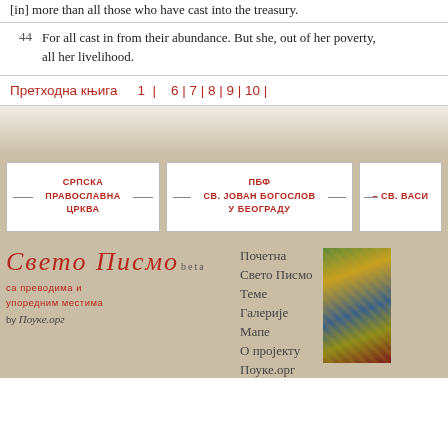[in] more than all those who have cast into the treasury.
44  For all cast in from their abundance. But she, out of her poverty, all her livelihood.
Претходна књига   1 |   6 | 7 | 8 | 9 | 10 |
[Figure (logo): СРПСКА ПРАВОСЛАВНА ЦРКВА sponsor box]
[Figure (logo): ПБФ СВ. ЈОВАН БОГОСЛОВ У БЕОГРАДУ sponsor box]
[Figure (logo): СВ. ВАСИ... sponsor box (partial)]
[Figure (logo): Свето Писмо beta logo with subtitle са преводима и упоредним местима by Поуке.орг]
Почетна
Свето Писмо
Теме
Галерије
Мапе
О пројекту
Поуке.орг
[Figure (photo): Decorative religious image partial, gold and blue tones]